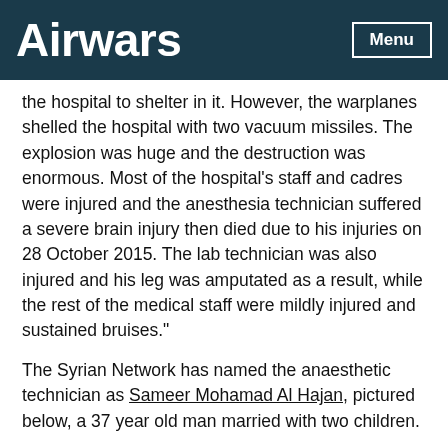Airwars
the hospital to shelter in it. However, the warplanes shelled the hospital with two vacuum missiles. The explosion was huge and the destruction was enormous. Most of the hospital's staff and cadres were injured and the anesthesia technician suffered a severe brain injury then died due to his injuries on 28 October 2015. The lab technician was also injured and his leg was amputated as a result, while the rest of the medical staff were mildly injured and sustained bruises."
The Syrian Network has named the anaesthetic technician as Sameer Mohamad Al Hajan, pictured below, a 37 year old man married with two children.
The local time of the incident is unknown.